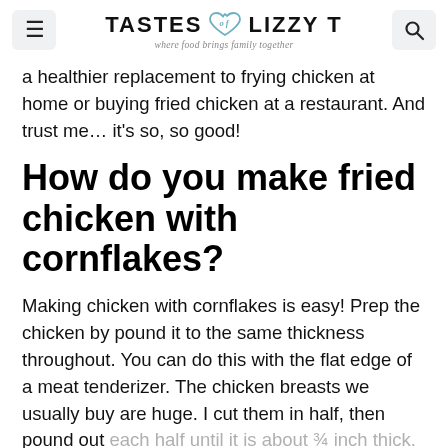TASTES of LIZZY T — where food brings family together
a healthier replacement to frying chicken at home or buying fried chicken at a restaurant. And trust me… it's so, so good!
How do you make fried chicken with cornflakes?
Making chicken with cornflakes is easy! Prep the chicken by pound it to the same thickness throughout. You can do this with the flat edge of a meat tenderizer. The chicken breasts we usually buy are huge. I cut them in half, then pound out each half until it is about ¾ inch thick. This will help the chicken bake evenly.